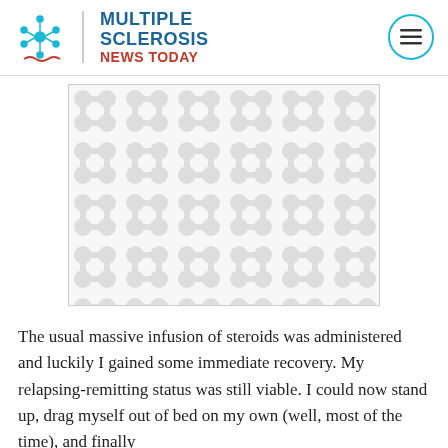Multiple Sclerosis News Today
[Figure (illustration): Placeholder image with repeating light gray pattern on white background, bordered by a thin gray rectangle]
The usual massive infusion of steroids was administered and luckily I gained some immediate recovery. My relapsing-remitting status was still viable. I could now stand up, drag myself out of bed on my own (well, most of the time), and finally